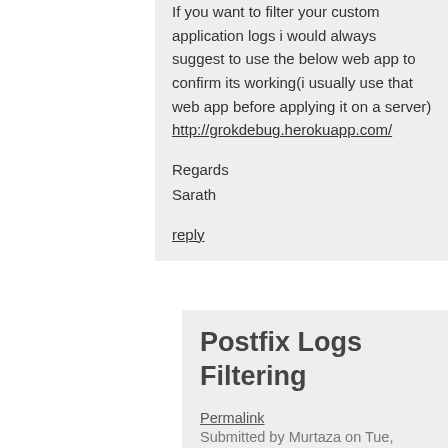If you want to filter your custom application logs i would always suggest to use the below web app to confirm its working(i usually use that web app before applying it on a server) http://grokdebug.herokuapp.com/
Regards
Sarath
reply
Postfix Logs Filtering
Permalink
Submitted by Murtaza on Tue,